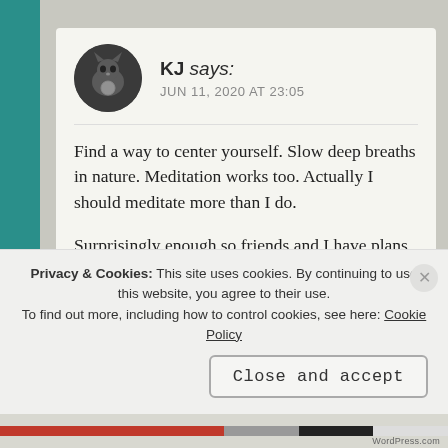KJ says: JUN 11, 2020 AT 23:05
Find a way to center yourself. Slow deep breaths in nature. Meditation works too. Actually I should meditate more than I do.

Surprisingly enough so friends and I have plans to go to Scotland as soon as we are able. I would be happy to stop in England to say hi.
Privacy & Cookies: This site uses cookies. By continuing to use this website, you agree to their use.
To find out more, including how to control cookies, see here: Cookie Policy
Close and accept